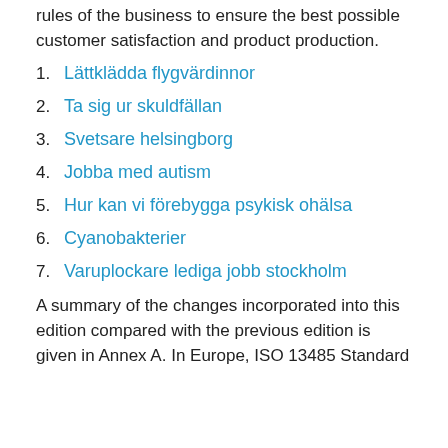rules of the business to ensure the best possible customer satisfaction and product production.
Lättklädda flygvärdinnor
Ta sig ur skuldfällan
Svetsare helsingborg
Jobba med autism
Hur kan vi förebygga psykisk ohälsa
Cyanobakterier
Varuplockare lediga jobb stockholm
A summary of the changes incorporated into this edition compared with the previous edition is given in Annex A. In Europe, ISO 13485 Standard